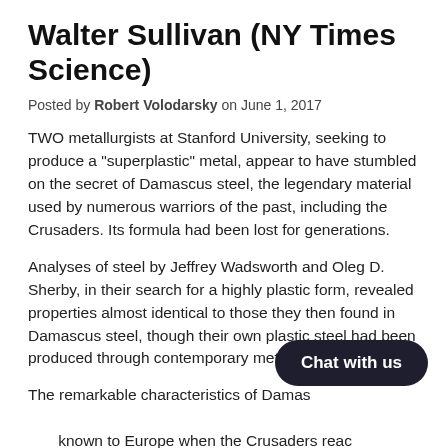Walter Sullivan (NY Times Science)
Posted by Robert Volodarsky on June 1, 2017
TWO metallurgists at Stanford University, seeking to produce a "superplastic" metal, appear to have stumbled on the secret of Damascus steel, the legendary material used by numerous warriors of the past, including the Crusaders. Its formula had been lost for generations.
Analyses of steel by Jeffrey Wadsworth and Oleg D. Sherby, in their search for a highly plastic form, revealed properties almost identical to those they then found in Damascus steel, though their own plastic steel had been produced through contemporary methods.
The remarkable characteristics of Damascus steel became known to Europe when the Crusaders reached the Middle East, beginning in the 11th century. They discovered that swords of